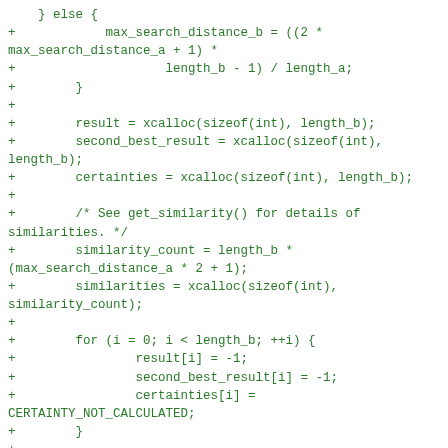Code diff showing C code additions for fuzzy matching algorithm including memory allocation and loop initialization